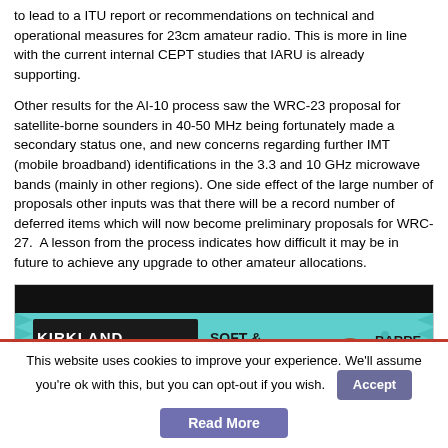to lead to a ITU report or recommendations on technical and operational measures for 23cm amateur radio. This is more in line with the current internal CEPT studies that IARU is already supporting.
Other results for the AI-10 process saw the WRC-23 proposal for satellite-borne sounders in 40-50 MHz being fortunately made a secondary status one, and new concerns regarding further IMT (mobile broadband) identifications in the 3.3 and 10 GHz microwave bands (mainly in other regions). One side effect of the large number of proposals other inputs was that there will be a record number of deferred items which will now become preliminary proposals for WRC-27. A lesson from the process indicates how difficult it may be in future to achieve any upgrade to other amateur allocations.
[Figure (photo): Photo of a Kirkland brand soft & chewy granola bar (Barre Tendre) in blue packaging, photographed against a dark background.]
This website uses cookies to improve your experience. We'll assume you're ok with this, but you can opt-out if you wish.